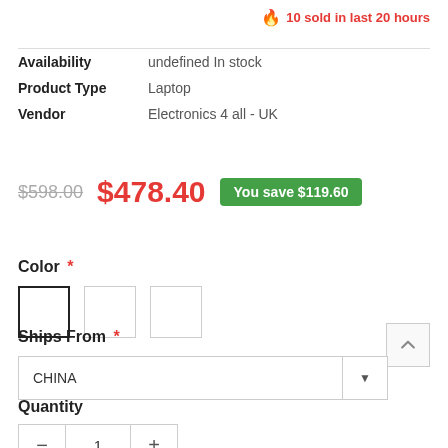🔥 10 sold in last 20 hours
| Field | Value |
| --- | --- |
| Availability | undefined In stock |
| Product Type | Laptop |
| Vendor | Electronics 4 all - UK |
$598.00  $478.40  You save $119.60
Color *
Ships From *
CHINA
Quantity
1